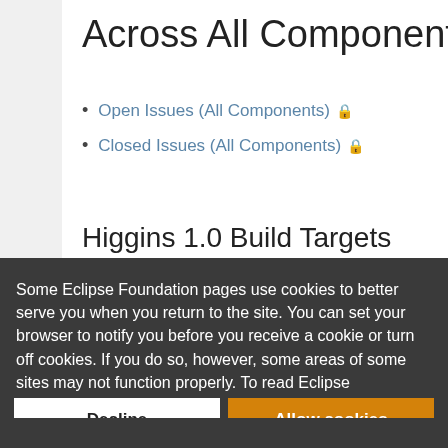Across All Components
Open Issues (All Components) 🔒
Closed Issues (All Components) 🔒
Higgins 1.0 Build Targets
Some Eclipse Foundation pages use cookies to better serve you when you return to the site. You can set your browser to notify you before you receive a cookie or turn off cookies. If you do so, however, some areas of some sites may not function properly. To read Eclipse Foundation Privacy Policy click here.
Decline
Allow cookies